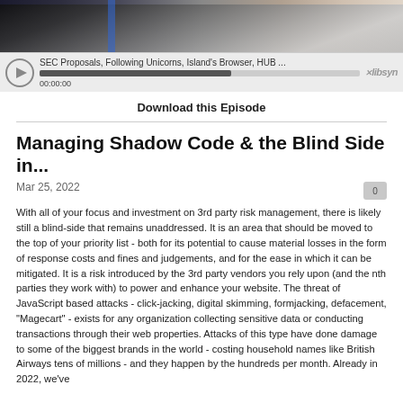[Figure (screenshot): Podcast player with photo thumbnail showing people, playback controls, progress bar showing 00:00:00, episode title 'SEC Proposals, Following Unicorns, Island's Browser, HUB ...' and libsyn logo]
Download this Episode
Managing Shadow Code & the Blind Side in...
Mar 25, 2022
With all of your focus and investment on 3rd party risk management, there is likely still a blind-side that remains unaddressed. It is an area that should be moved to the top of your priority list - both for its potential to cause material losses in the form of response costs and fines and judgements, and for the ease in which it can be mitigated. It is a risk introduced by the 3rd party vendors you rely upon (and the nth parties they work with) to power and enhance your website. The threat of JavaScript based attacks - click-jacking, digital skimming, formjacking, defacement, "Magecart" - exists for any organization collecting sensitive data or conducting transactions through their web properties. Attacks of this type have done damage to some of the biggest brands in the world - costing household names like British Airways tens of millions - and they happen by the hundreds per month. Already in 2022, we've